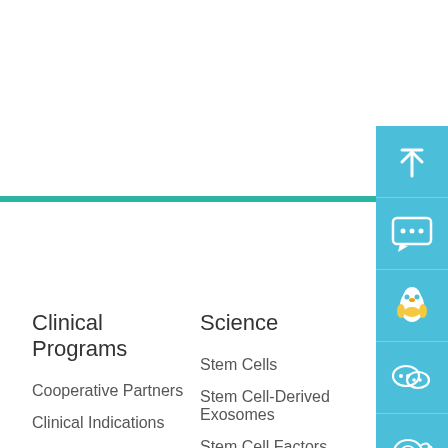[Figure (infographic): Navigation sidebar with 5 icons on blue/teal background: upload arrow, chat bubble, penguin (QQ), WeChat logo, and an exosome/cell icon]
Clinical Programs
Science
Cooperative Partners
Clinical Indications
Clinical Cases
Stem Cells
Stem Cell-Derived Exosomes
Stem Cell Factors